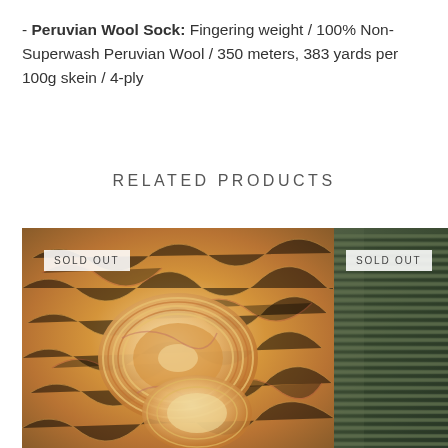- Peruvian Wool Sock: Fingering weight / 100% Non-Superwash Peruvian Wool / 350 meters, 383 yards per 100g skein / 4-ply
RELATED PRODUCTS
[Figure (photo): Close-up photo of golden/copper and pink variegated yarn skeins coiled on a fluffy cream and gold curly fleece background. A 'SOLD OUT' badge is overlaid in the top-left corner.]
[Figure (photo): Close-up photo of dark olive/forest green yarn, tightly wound in parallel strands, partially cropped on the right side of the page. A 'SOLD OUT' badge is overlaid in the top-left corner.]